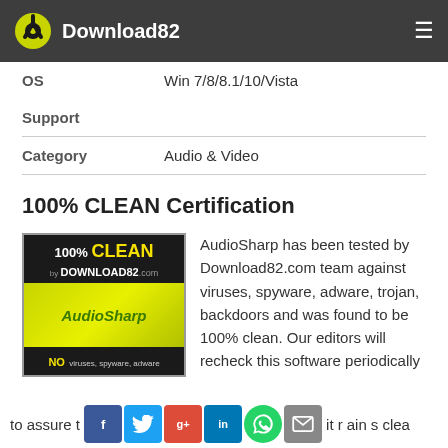Download82
| OS | Win 7/8/8.1/10/Vista |
| Support |  |
| Category | Audio & Video |
100% CLEAN Certification
[Figure (logo): 100% CLEAN by Download82.com certification badge for AudioSharp — NO viruses, spyware, adware]
AudioSharp has been tested by Download82.com team against viruses, spyware, adware, trojan, backdoors and was found to be 100% clean. Our editors will recheck this software periodically to assure that it remains clean
to assure that it remains clean [social share icons: Facebook, Twitter, Google+, LinkedIn, WhatsApp, Email]